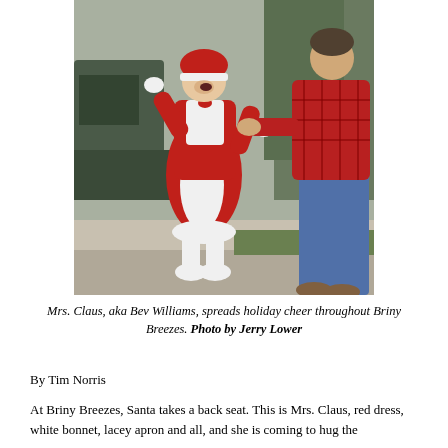[Figure (photo): A woman dressed as Mrs. Claus in a red dress with white apron and bonnet, laughing with arms raised, standing on a sidewalk next to a man in a red plaid shirt and jeans.]
Mrs. Claus, aka Bev Williams, spreads holiday cheer throughout Briny Breezes. Photo by Jerry Lower
By Tim Norris
At Briny Breezes, Santa takes a back seat. This is Mrs. Claus, red dress, white bonnet, lacey apron and all, and she is coming to hug the